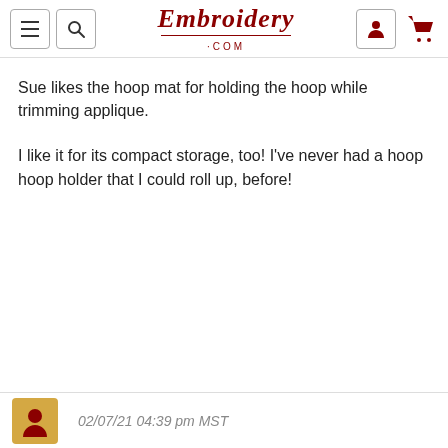Embroidery.com navigation bar
Sue likes the hoop mat for holding the hoop while trimming applique.
I like it for its compact storage, too!  I've never had a hoop hoop holder that I could roll up, before!
02/07/21 04:39 pm MST